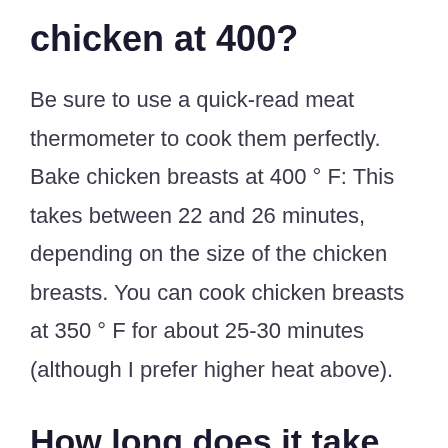chicken at 400?
Be sure to use a quick-read meat thermometer to cook them perfectly. Bake chicken breasts at 400 ° F: This takes between 22 and 26 minutes, depending on the size of the chicken breasts. You can cook chicken breasts at 350 ° F for about 25-30 minutes (although I prefer higher heat above).
How long does it take for a